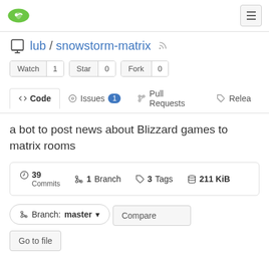Gitea navigation bar with logo and hamburger menu
lub / snowstorm-matrix
Watch 1   Star 0   Fork 0
<> Code   Issues 1   Pull Requests   Releases
a bot to post news about Blizzard games to matrix rooms
39 Commits   1 Branch   3 Tags   211 KiB
Branch: master
Compare
Go to file